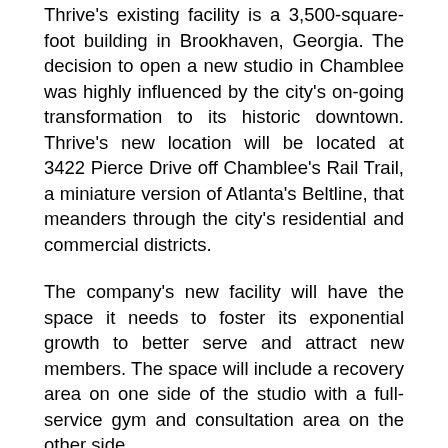Thrive's existing facility is a 3,500-square-foot building in Brookhaven, Georgia. The decision to open a new studio in Chamblee was highly influenced by the city's on-going transformation to its historic downtown. Thrive's new location will be located at 3422 Pierce Drive off Chamblee's Rail Trail, a miniature version of Atlanta's Beltline, that meanders through the city's residential and commercial districts.
The company's new facility will have the space it needs to foster its exponential growth to better serve and attract new members. The space will include a recovery area on one side of the studio with a full-service gym and consultation area on the other side.
“Working with Cresa was a great experience,” said Lloyd Garden, Owner of Thrive Fitness. “Steve showed professionalism, thoughtfulness, and fairness in every aspect of the site selection process, and we are confident